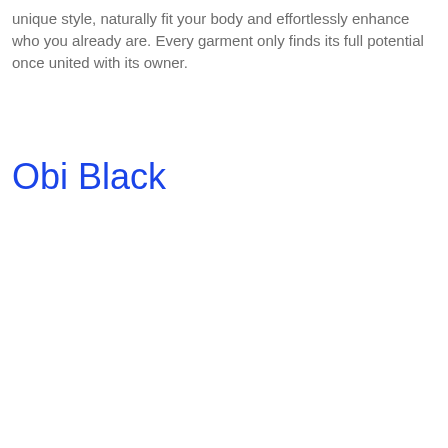unique style, naturally fit your body and effortlessly enhance who you already are. Every garment only finds its full potential once united with its owner.
Obi Black